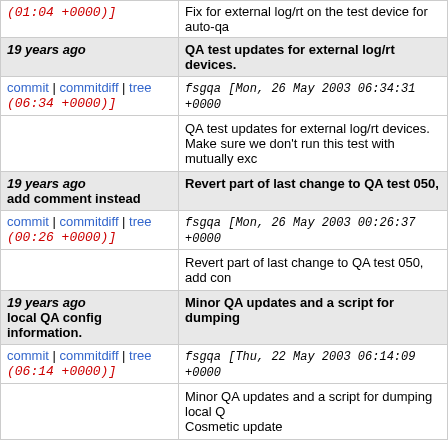|  |  |
| --- | --- |
| (01:04 +0000)] | Fix for external log/rt on the test device for auto-qa |
| 19 years ago
commit | commitdiff | tree
(06:34 +0000)] | QA test updates for external log/rt devices.
fsgqa [Mon, 26 May 2003 06:34:31 +0000
QA test updates for external log/rt devices.
Make sure we don't run this test with mutually exc |
| 19 years ago
add comment instead
commit | commitdiff | tree
(00:26 +0000)] | Revert part of last change to QA test 050,
fsgqa [Mon, 26 May 2003 00:26:37 +0000
Revert part of last change to QA test 050, add con |
| 19 years ago
local QA config information.
commit | commitdiff | tree
(06:14 +0000)] | Minor QA updates and a script for dumping
fsgqa [Thu, 22 May 2003 06:14:09 +0000
Minor QA updates and a script for dumping local Q
Cosmetic update |